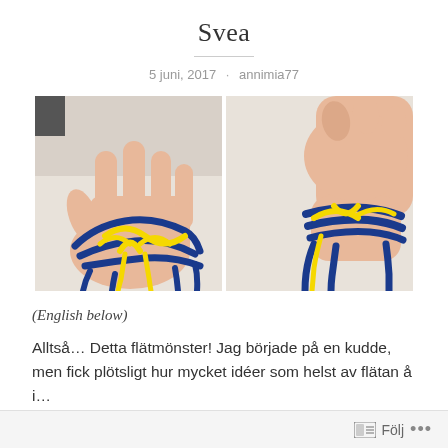Svea
5 juni, 2017 · annimia77
[Figure (photo): Two side-by-side photos of a child's wrist/hand showing blue and yellow yarn knitted bracelet. Left photo shows open palm with the yarn arrangement. Right photo shows the bracelet worn on the wrist.]
(English below)
Alltså… Detta flätmönster! Jag började på en kudde, men fick plötsligt hur mycket idéer som helst av flätan å i…